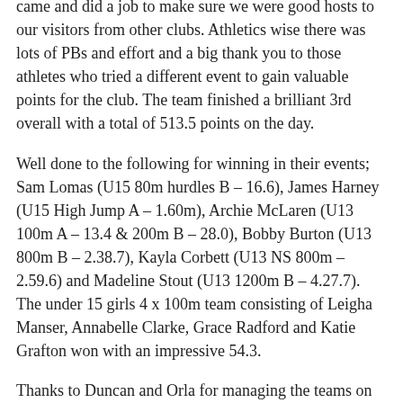came and did a job to make sure we were good hosts to our visitors from other clubs. Athletics wise there was lots of PBs and effort and a big thank you to those athletes who tried a different event to gain valuable points for the club. The team finished a brilliant 3rd overall with a total of 513.5 points on the day.
Well done to the following for winning in their events; Sam Lomas (U15 80m hurdles B – 16.6), James Harney (U15 High Jump A – 1.60m), Archie McLaren (U13 100m A – 13.4 & 200m B – 28.0), Bobby Burton (U13 800m B – 2.38.7), Kayla Corbett (U13 NS 800m – 2.59.6) and Madeline Stout (U13 1200m B – 4.27.7). The under 15 girls 4 x 100m team consisting of Leigha Manser, Annabelle Clarke, Grace Radford and Katie Grafton won with an impressive 54.3.
Thanks to Duncan and Orla for managing the teams on the day.
>Full Results<